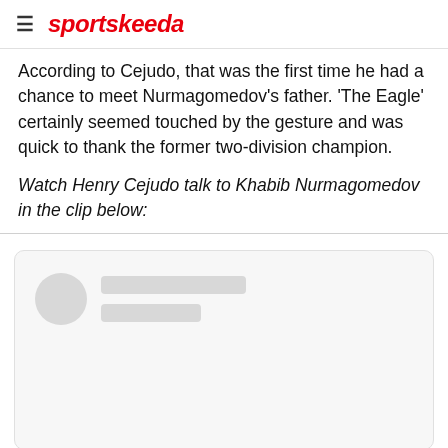sportskeeda
According to Cejudo, that was the first time he had a chance to meet Nurmagomedov's father. 'The Eagle' certainly seemed touched by the gesture and was quick to thank the former two-division champion.
Watch Henry Cejudo talk to Khabib Nurmagomedov in the clip below:
[Figure (screenshot): Embedded social media post placeholder with avatar circle and grey loading bars]